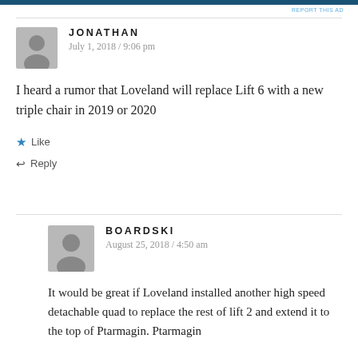[Figure (other): Blue advertisement banner bar at top of page with 'REPORT THIS AD' text link in teal]
JONATHAN
July 1, 2018 / 9:06 pm
I heard a rumor that Loveland will replace Lift 6 with a new triple chair in 2019 or 2020
★ Like
↩ Reply
BOARDSKI
August 25, 2018 / 4:50 am
It would be great if Loveland installed another high speed detachable quad to replace the rest of lift 2 and extend it to the top of Ptarmagin. Ptarmagin